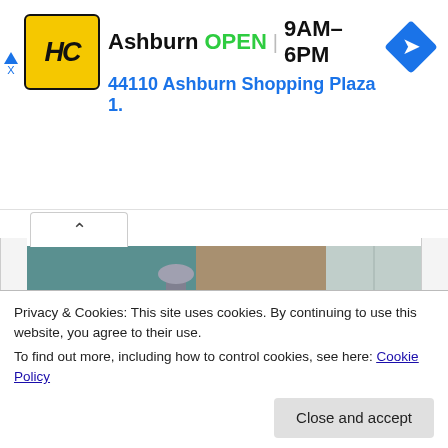[Figure (advertisement): HC Hardware store ad banner: yellow/black logo, Ashburn OPEN 9AM-6PM, 44110 Ashburn Shopping Plaza 1., blue navigation arrow icon]
[Figure (photo): A tabby cat lying in a white bathroom sink, looking at the camera with green eyes. A chrome faucet is visible above.]
PREVIOUS ARTICLE
NEXT ARTICLE
Privacy & Cookies: This site uses cookies. By continuing to use this website, you agree to their use.
To find out more, including how to control cookies, see here: Cookie Policy
Close and accept